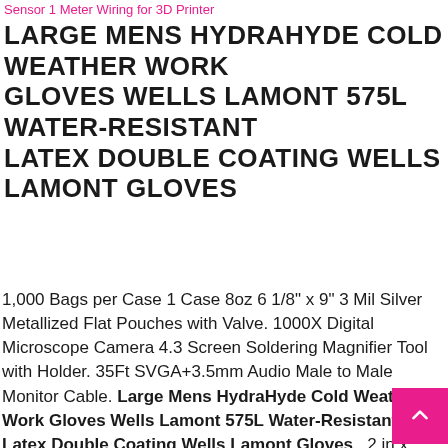Sensor 1 Meter Wiring for 3D Printer
LARGE MENS HYDRAHYDE COLD WEATHER WORK GLOVES WELLS LAMONT 575L WATER-RESISTANT LATEX DOUBLE COATING WELLS LAMONT GLOVES
1,000 Bags per Case 1 Case 8oz 6 1/8" x 9" 3 Mil Silver Metallized Flat Pouches with Valve. 1000X Digital Microscope Camera 4.3 Screen Soldering Magnifier Tool with Holder. 35Ft SVGA+3.5mm Audio Male to Male Monitor Cable. Large Mens HydraHyde Cold Weather Work Gloves Wells Lamont 575L Water-Resistant Latex Double Coating Wells Lamont Gloves , 2 in x 4.25 in Polycarbonate 1350 Pack Clear